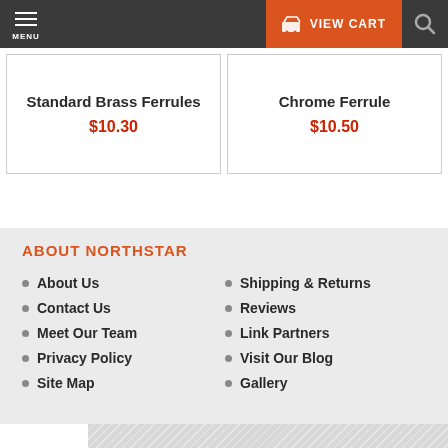MENU | VIEW CART
Standard Brass Ferrules
$10.30
Chrome Ferrule
$10.50
ABOUT NORTHSTAR
About Us
Contact Us
Meet Our Team
Privacy Policy
Site Map
Shipping & Returns
Reviews
Link Partners
Visit Our Blog
Gallery
[Figure (logo): Helpdesk logo with orange double-chevron arrows and bold dark text reading Helpdesk on a light grey diagonal-striped background]